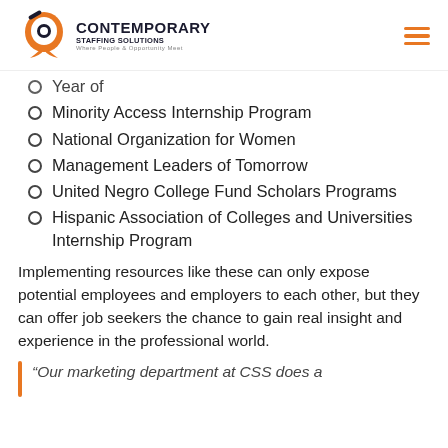[Figure (logo): Contemporary Staffing Solutions logo with orange speech bubble icon and company name]
Year of
Minority Access Internship Program
National Organization for Women
Management Leaders of Tomorrow
United Negro College Fund Scholars Programs
Hispanic Association of Colleges and Universities Internship Program
Implementing resources like these can only expose potential employees and employers to each other, but they can offer job seekers the chance to gain real insight and experience in the professional world.
“Our marketing department at CSS does a